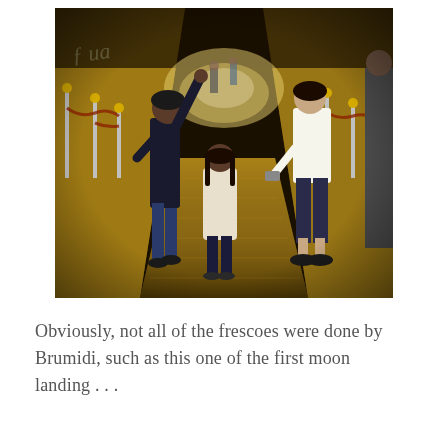[Figure (photo): Photograph taken inside an ornate government building hallway (likely the U.S. Capitol). The hallway has gilded/marble walls with decorative columns and a patterned tiled floor. Several people are visible: a child in dark clothing with arm raised pointing upward, a smaller child in a light-colored jacket, a woman in a white top and dark capri pants, and a partial figure on the right. Velvet rope barriers line the walls. The hallway extends into the distance showing more visitors.]
Obviously, not all of the frescoes were done by Brumidi, such as this one of the first moon landing . . .